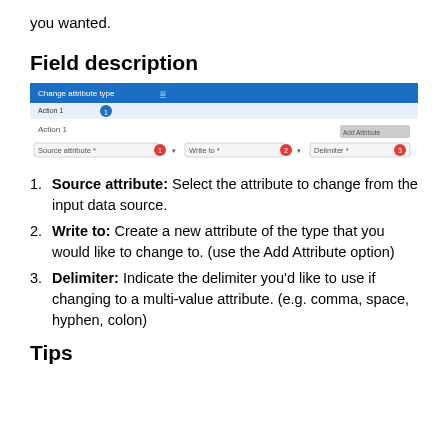you wanted.
Field description
[Figure (screenshot): Screenshot of 'Change attribute type' dialog showing three fields: Source attribute (labeled 1), Write to (labeled 2), and Delimiter (labeled 3) with a blue header bar and form fields.]
Source attribute: Select the attribute to change from the input data source.
Write to: Create a new attribute of the type that you would like to change to. (use the Add Attribute option)
Delimiter: Indicate the delimiter you'd like to use if changing to a multi-value attribute. (e.g. comma, space, hyphen, colon)
Tips